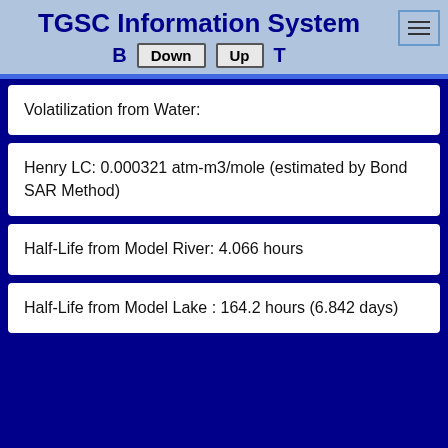TGSC Information System
Volatilization from Water:
Henry LC: 0.000321 atm-m3/mole (estimated by Bond SAR Method)
Half-Life from Model River: 4.066 hours
Half-Life from Model Lake : 164.2 hours (6.842 days)